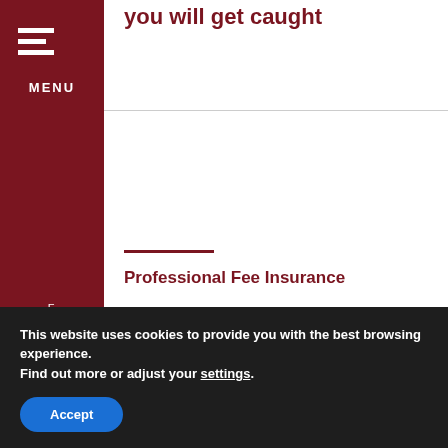MENU
you will get caught
Professional Fee Insurance
There is no doubt that the HM Revenue and Customs are investing huge resources into investigating both individuals and businesses, in
This website uses cookies to provide you with the best browsing experience.
Find out more or adjust your settings.
Accept